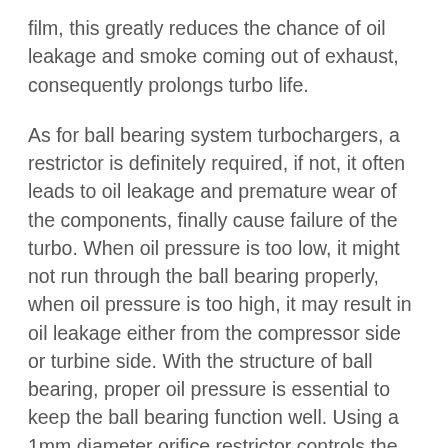film, this greatly reduces the chance of oil leakage and smoke coming out of exhaust, consequently prolongs turbo life.
As for ball bearing system turbochargers, a restrictor is definitely required, if not, it often leads to oil leakage and premature wear of the components, finally cause failure of the turbo. When oil pressure is too low, it might not run through the ball bearing properly, when oil pressure is too high, it may result in oil leakage either from the compressor side or turbine side. With the structure of ball bearing, proper oil pressure is essential to keep the ball bearing function well. Using a 1mm diameter orifice restrictor controls the oil feed pressure at around 40-45psi, this ensures the bearing to be fully lubricated, therefore prolonging turbo life.
Keep in mind that besides a restrictor, carefully choosing appropriate oil feed lines and oil